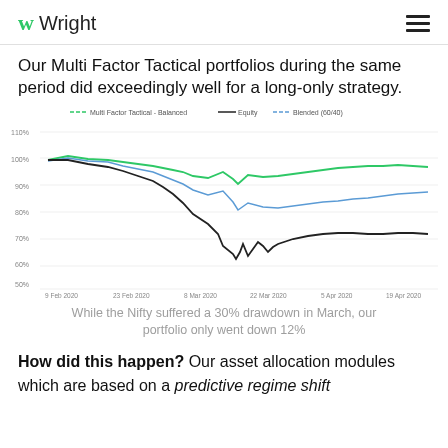Wright
Our Multi Factor Tactical portfolios during the same period did exceedingly well for a long-only strategy.
[Figure (line-chart): ]
While the Nifty suffered a 30% drawdown in March, our portfolio only went down 12%
How did this happen? Our asset allocation modules which are based on a predictive regime shift